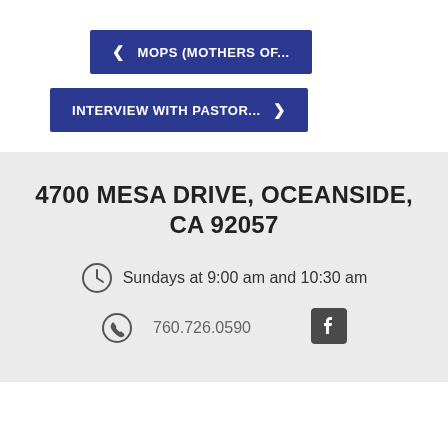< MOPS (MOTHERS OF...
INTERVIEW WITH PASTOR... >
4700 MESA DRIVE, OCEANSIDE, CA 92057
Sundays at 9:00 am and 10:30 am
760.726.0590